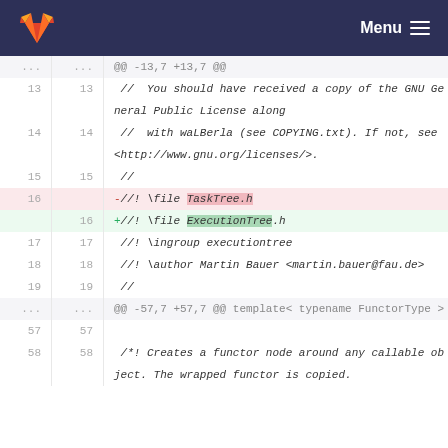GitLab Menu
[Figure (screenshot): GitLab diff view showing code changes. Lines 13-19 and 57-58 of a C++ header file. Line 16 is deleted (- //! \file TaskTree.h) and replaced with (+ //! \file ExecutionTree.h). Hunk headers show @@ -13,7 +13,7 @@ and @@ -57,7 +57,7 @@ template< typename FunctorType > class SharedSweep;]